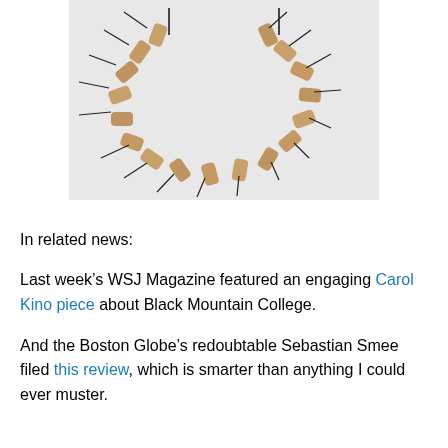[Figure (photo): A necklace or collar-like art object made from wine corks arranged in a U-shape, with bobby pins or metal hairpins inserted into each cork radiating outward. The corks are tan/brown colored and the pins are dark/black. The object is photographed on a white background.]
In related news:
Last week's WSJ Magazine featured an engaging Carol Kino piece about Black Mountain College.
And the Boston Globe's redoubtable Sebastian Smee filed this review, which is smarter than anything I could ever muster.